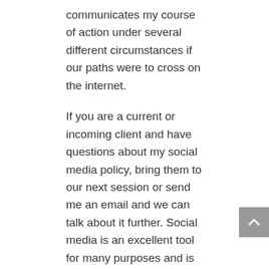communicates my course of action under several different circumstances if our paths were to cross on the internet.
If you are a current or incoming client and have questions about my social media policy, bring them to our next session or send me an email and we can talk about it further. Social media is an excellent tool for many purposes and is evolving quickly. This policy may change to reflect this evolution in the future, and I will always advise my clients of any changes as they happen and post the update on my website.
Confidentiality
In my role as a registered counsellor (RCC), I am bound by complete confidentiality and will not ever share details about clients or sessions except, in cases where a client might harm themselves or